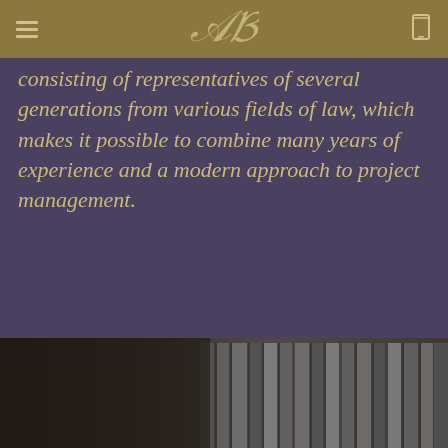[Navigation bar with hamburger menu, law firm logo (AB monogram), and mobile icon]
consisting of representatives of several generations from various fields of law, which makes it possible to combine many years of experience and a modern approach to project management.
[Figure (photo): Black and white photo of law books on a shelf]